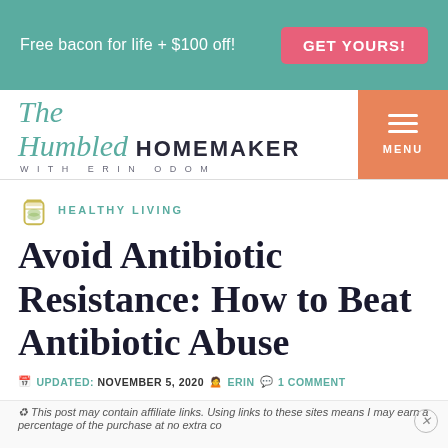Free bacon for life + $100 off! GET YOURS!
[Figure (logo): The Humbled Homemaker with Erin Odom logo with teal script and bold sans-serif text]
HEALTHY LIVING
Avoid Antibiotic Resistance: How to Beat Antibiotic Abuse
UPDATED: NOVEMBER 5, 2020 • ERIN • 1 COMMENT
♻ This post may contain affiliate links. Using links to these sites means I may earn a percentage of the purchase at no extra cost to you. For more information, see my disclosure policy.